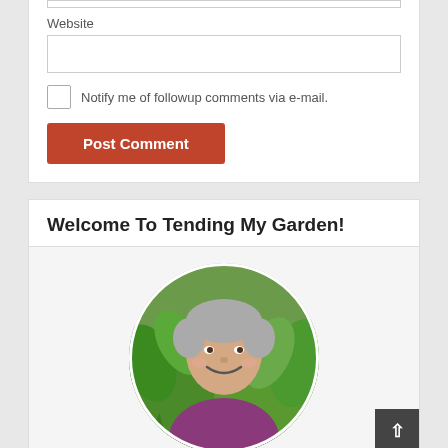Website
Notify me of followup comments via e-mail.
Post Comment
Welcome To Tending My Garden!
[Figure (photo): Circular portrait photo of a woman with short gray hair, smiling, surrounded by green garden plants, wearing a pink/purple top.]